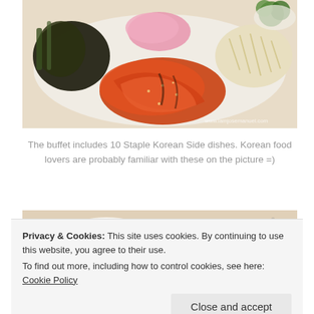[Figure (photo): Korean side dishes spread on a white plate, including kimchi (orange-red fermented cabbage), dark seasoned greens, pink pickled radish, bean sprouts, and broccoli. Watermark reads www.iamjosemanuel.com]
The buffet includes 10 Staple Korean Side dishes. Korean food lovers are probably familiar with these on the picture =)
[Figure (photo): Close-up of Korean dishes on white plates and bowls, including dark braised meat, dipping sauces, and other side dishes.]
Privacy & Cookies: This site uses cookies. By continuing to use this website, you agree to their use.
To find out more, including how to control cookies, see here: Cookie Policy
Close and accept